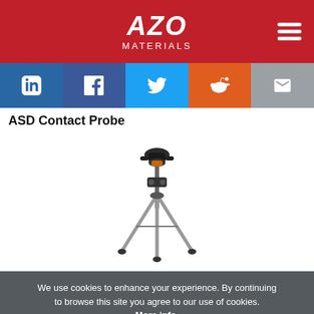[Figure (logo): AZO Materials logo on red background with hamburger menu icon]
[Figure (infographic): Social media sharing bar with LinkedIn, Facebook, Twitter, Reddit, and Email icons]
ASD Contact Probe
[Figure (photo): Photo of an ASD Contact Probe instrument on a tripod stand]
We use cookies to enhance your experience. By continuing to browse this site you agree to our use of cookies. More info.
✓ Accept   Cookie Settings